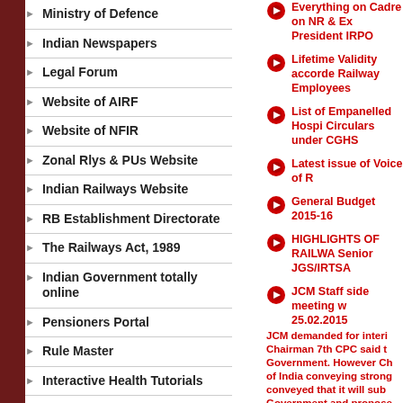Ministry of Defence
Indian Newspapers
Legal Forum
Website of AIRF
Website of NFIR
Zonal Rlys & PUs Website
Indian Railways Website
RB Establishment Directorate
The Railways Act, 1989
Indian Government totally online
Pensioners Portal
Rule Master
Interactive Health Tutorials
Railway Board
Everything on Cadre on NR & Ex President IRPO
Lifetime Validity accorded Railway Employees
List of Empanelled Hospi Circulars under CGHS
Latest issue of Voice of R
General Budget 2015-16
HIGHLIGHTS OF RAILWA Senior JGS/IRTSA
JCM Staff side meeting w 25.02.2015 JCM demanded for interi Chairman 7th CPC said t Government. However Ch of India conveying strong conveyed that it will sub Government and propose various departments for s
General Secretary IRTSA alongwith Er. Darshan La Meeting during General S
Personal Presence of Pe